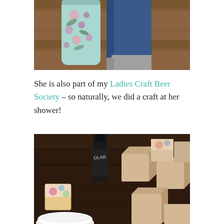[Figure (photo): Person holding a floral-patterned light blue travel cup/tumbler, wearing blue jeans and grey socks, standing on a wooden floor.]
She is also part of my Ladies Craft Beer Society – so naturally, we did a craft at her shower!
[Figure (photo): Wooden table with plain wood blocks, one decorated colorful block, a dark bottle labeled POLAR, and a white bowl, as part of a baby shower craft activity.]